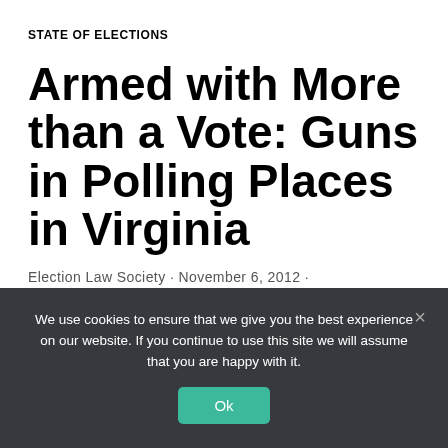STATE OF ELECTIONS
Armed with More than a Vote: Guns in Polling Places in Virginia
Election Law Society · November 6, 2012 ·
—
We use cookies to ensure that we give you the best experience on our website. If you continue to use this site we will assume that you are happy with it.